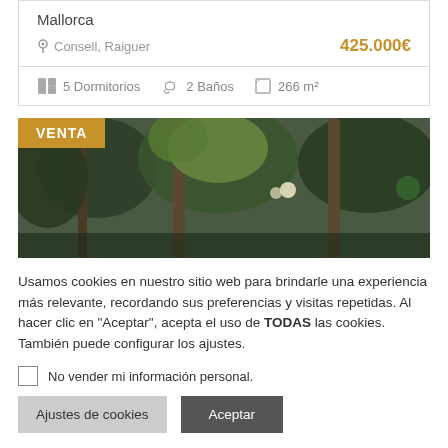Mallorca
Consell, Raiguer   425.000€
5 Dormitorios   2 Baños   266 m²
[Figure (photo): Exterior photo of a property with palm trees and street lamps, with a gold VENTA badge overlay in the top left corner]
Usamos cookies en nuestro sitio web para brindarle una experiencia más relevante, recordando sus preferencias y visitas repetidas. Al hacer clic en "Aceptar", acepta el uso de TODAS las cookies. También puede configurar los ajustes.
No vender mi información personal.
Ajustes de cookies   Aceptar